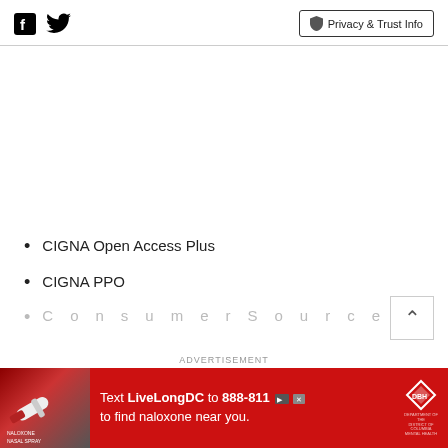Facebook Twitter | Privacy & Trust Info
CIGNA Open Access Plus
CIGNA PPO
[Figure (screenshot): Advertisement banner for LiveLongDC naloxone finder. Red background with text 'Text LiveLongDC to 888-811 to find naloxone near you.' with DBH logo and image of naloxone kit.]